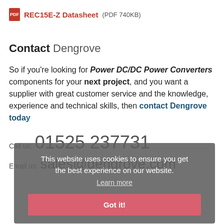REC15E-Z Datasheet  (PDF 740KB)
Contact Dengrove
So if you're looking for Power DC/DC Power Converters components for your next project, and you want a supplier with great customer service and the knowledge, experience and technical skills, then contact Dengrove today
Call us: 01525 237731
Email us: sales@dengrove.com
This website uses cookies to ensure you get the best experience on our website. Learn more
Got it!